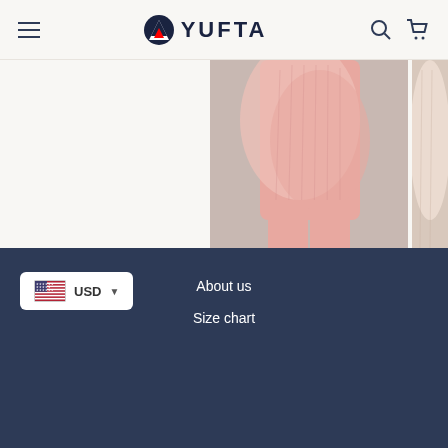YUFTA
[Figure (photo): Pink bandhani printed dupatta set outfit photo - woman wearing pink outfit with dupatta]
PINK BANDHANI PRINTED DUPATTA SET
$39.27  $19.64  Save 50%
[Figure (photo): Partial photo of second product - Pink Gotta Dupatta set]
PINK GOT... DUP...
$41.52  $...
USD  About us  Size chart